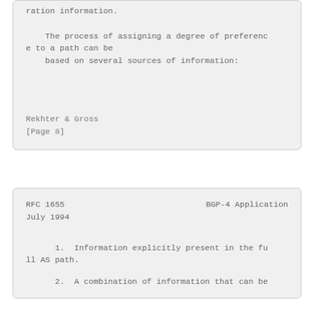ration information.

    The process of assigning a degree of preference to a path can be
    based on several sources of information:
Rekhter & Gross
[Page 8]
RFC 1655                                  BGP-4 Application
July 1994
1.  Information explicitly present in the full AS path.
2.  A combination of information that can be